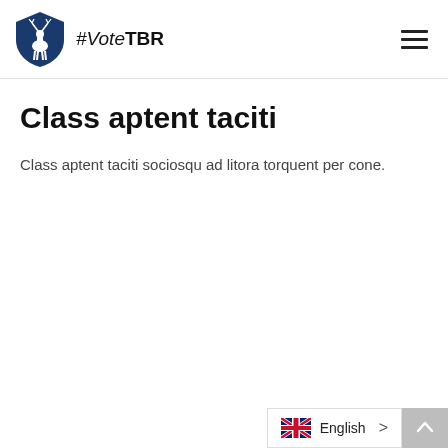#VoteTBR
Class aptent taciti
Class aptent taciti sociosqu ad litora torquent per cone.
English >